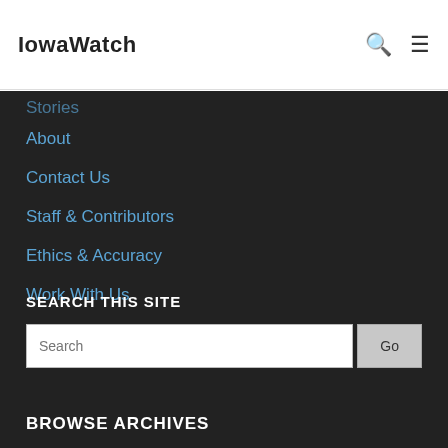IowaWatch
Stories
About
Contact Us
Staff & Contributors
Ethics & Accuracy
Work With Us
Our Supporters
SEARCH THIS SITE
BROWSE ARCHIVES